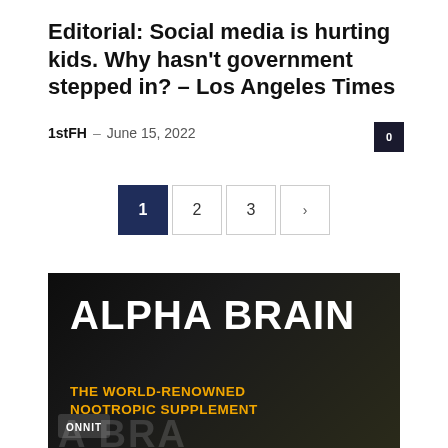Editorial: Social media is hurting kids. Why hasn't government stepped in? – Los Angeles Times
1stFH – June 15, 2022
[Figure (other): Pagination navigation showing pages 1 (active), 2, 3, and a next arrow button]
[Figure (other): Advertisement for Alpha Brain supplement with text: ALPHA BRAIN - THE WORLD-RENOWNED NOOTROPIC SUPPLEMENT, with ONNIT branding and product image]